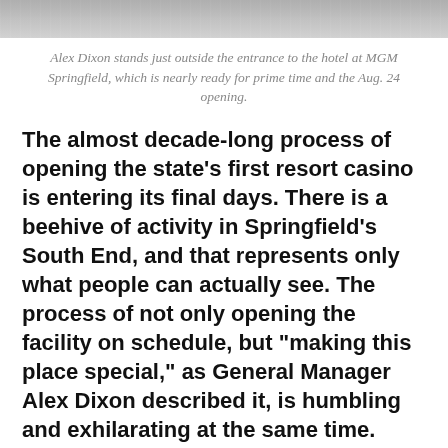[Figure (photo): Top portion of a photo showing the entrance area of MGM Springfield hotel, partially cropped.]
Alex Dixon stands just outside the entrance to the hotel at MGM Springfield, which is nearly ready for prime time and the Aug. 24 opening.
The almost decade-long process of opening the state's first resort casino is entering its final days. There is a beehive of activity in Springfield's South End, and that represents only what people can actually see. The process of not only opening the facility on schedule, but “making this place special,” as General Manager Alex Dixon described it, is humbling and exhilarating at the same time.
12,704.
That’s how many “discrete tasks” Alex Dixon said he and the ever-growing team at MGM Springfield must complete